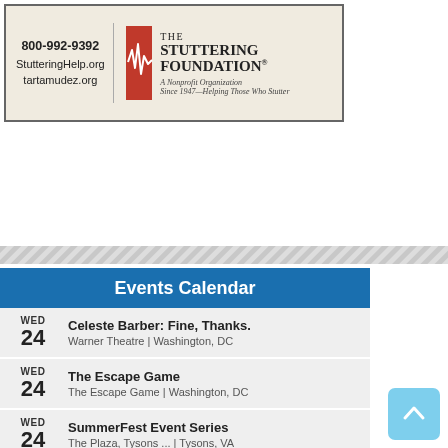[Figure (illustration): The Stuttering Foundation advertisement banner with phone number 800-992-9392, websites StutteringHelp.org and tartamudez.org, red logo with waveform, and tagline 'A Nonprofit Organization Since 1947—Helping Those Who Stutter']
Events Calendar
WED 24 — Celeste Barber: Fine, Thanks. | Warner Theatre | Washington, DC
WED 24 — The Escape Game | The Escape Game | Washington, DC
WED 24 — SummerFest Event Series | The Plaza, Tysons ... | Tysons, VA
WED 24 — Aşe: Afro Frequencies | ARTECHOUSE | Washington, DC
WED 24 — Hamilton | Kennedy Center | Washington, DC
WED ...